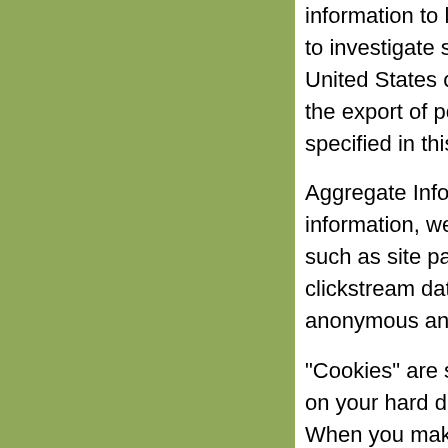information to law enforcement authorities to investigate suspected fraud. Our site a United States of America. By using the si the export of personal information to the U specified in this policy.
Aggregate Information We Collect and Us information, we may also collect non-pers such as site pages viewed, browser type, clickstream data and other information. S anonymous and does not identify any ind
"Cookies" are small data files that are se on your hard drive, keeping track of your When you make subsequent visits to our summary of your preferences and past ex allows us to tailor our product offerings m
"Clickstream data" is a trail of electronic i Web site you visit. This information can b server. We may, for example, use clickstr computer and browsing software you use which you linked to our site, how much ti our site, how you navigate throughout the